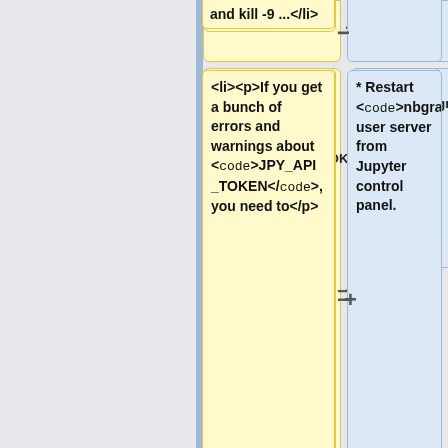and kill -9 ...</li>
<li><p>If you get a bunch of errors and warnings about <code>JPY_API_TOKEN</code>, you need to</p>
* Restart <code>nbgrader</code> user server from Jupyter control panel.
<pre>export CONFIGPROXY_AUTH_TOKEN=036536a1e95a4d4d83907648238eaa8e; export JPY_API_TOKEN=$(jupyterhub token --db=sqlite:////etc/jupyterhub/jupyterhub.sqlite -f
** May take a couple minutes for <code>jupyter</code> come back online